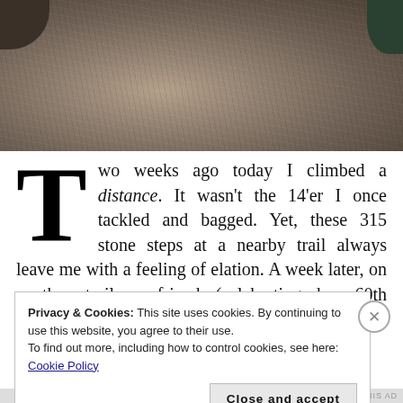[Figure (photo): Close-up photo of rocky, textured stone surface with muted brown and grey tones. A small patch of green vegetation is visible in the top right corner.]
Two weeks ago today I climbed a distance. It wasn't the 14'er I once tackled and bagged. Yet, these 315 stone steps at a nearby trail always leave me with a feeling of elation. A week later, on another trail, a friend (celebrating her 60th birthday with a 10 mile run) shortened her distance just to take time to chat with me.
Privacy & Cookies: This site uses cookies. By continuing to use this website, you agree to their use.
To find out more, including how to control cookies, see here: Cookie Policy
Close and accept